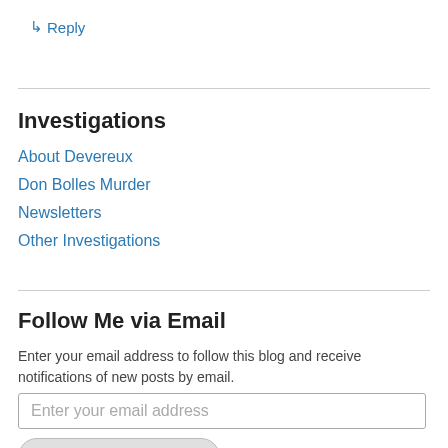↳ Reply
Investigations
About Devereux
Don Bolles Murder
Newsletters
Other Investigations
Follow Me via Email
Enter your email address to follow this blog and receive notifications of new posts by email.
Enter your email address
Get Email Notifications